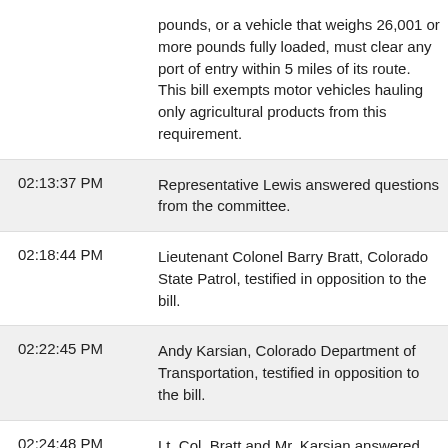| Time | Description |
| --- | --- |
|  | pounds, or a vehicle that weighs 26,001 or more pounds fully loaded, must clear any port of entry within 5 miles of its route. This bill exempts motor vehicles hauling only agricultural products from this requirement. |
| 02:13:37 PM | Representative Lewis answered questions from the committee. |
| 02:18:44 PM | Lieutenant Colonel Barry Bratt, Colorado State Patrol, testified in opposition to the bill. |
| 02:22:45 PM | Andy Karsian, Colorado Department of Transportation, testified in opposition to the bill. |
| 02:24:48 PM | Lt. Col. Bratt and Mr. Karsian answered questions from the committee. |